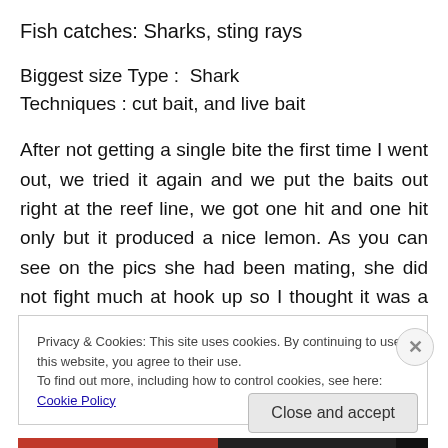Fish catches: Sharks, sting rays
Biggest size Type :  Shark
Techniques : cut bait, and live bait
After not getting a single bite the first time I went out, we tried it again and we put the baits out right at the reef line, we got one hit and one hit only but it produced a nice lemon. As you can see on the pics she had been mating, she did not fight much at hook up so I thought it was a nurse shark, but then as she got close to the sand bar she
Privacy & Cookies: This site uses cookies. By continuing to use this website, you agree to their use.
To find out more, including how to control cookies, see here: Cookie Policy
Close and accept